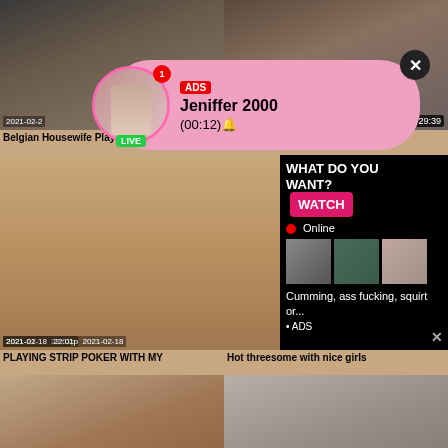[Figure (screenshot): Adult video thumbnail grid with ads overlays. Top row: two video thumbnails. Middle row: video thumbnail left, ad popup right. Bottom row: two video thumbnails. Overlaid with two ad popups.]
Belgian Housewife Playing With Her
Giving her what she needs
PLAYING STRIP POKER WITH MY
Hot threesome with nice girls